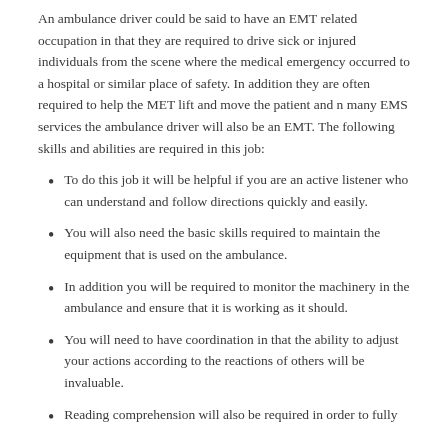An ambulance driver could be said to have an EMT related occupation in that they are required to drive sick or injured individuals from the scene where the medical emergency occurred to a hospital or similar place of safety. In addition they are often required to help the MET lift and move the patient and n many EMS services the ambulance driver will also be an EMT. The following skills and abilities are required in this job:
To do this job it will be helpful if you are an active listener who can understand and follow directions quickly and easily.
You will also need the basic skills required to maintain the equipment that is used on the ambulance.
In addition you will be required to monitor the machinery in the ambulance and ensure that it is working as it should.
You will need to have coordination in that the ability to adjust your actions according to the reactions of others will be invaluable.
Reading comprehension will also be required in order to fully